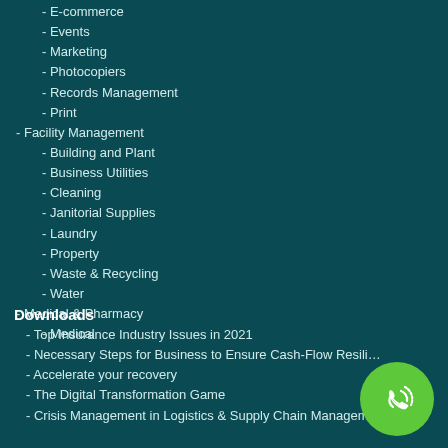- E-commerce
- Events
- Marketing
- Photocopiers
- Records Management
- Print
- Facility Management
- Building and Plant
- Business Utilities
- Cleaning
- Janitorial Supplies
- Laundry
- Property
- Waste & Recycling
- Water
- Medical & Pharmacy
- Medical
Downloads
- Top Insurance Industry Issues in 2021
- Necessary Steps for Business to Ensure Cash-Flow Resili…
- Accelerate your recovery
- The Digital Transformation Game
- Crisis Management in Logistics & Supply Chain Management